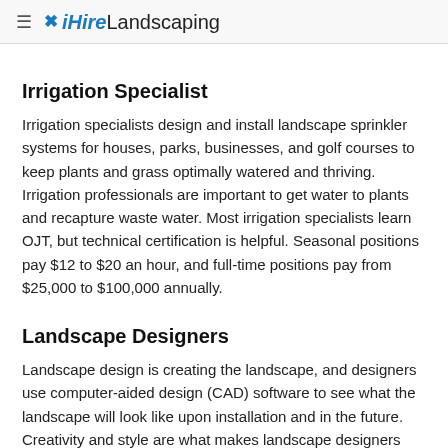≡ iHireLandscaping
Irrigation Specialist
Irrigation specialists design and install landscape sprinkler systems for houses, parks, businesses, and golf courses to keep plants and grass optimally watered and thriving. Irrigation professionals are important to get water to plants and recapture waste water. Most irrigation specialists learn OJT, but technical certification is helpful. Seasonal positions pay $12 to $20 an hour, and full-time positions pay from $25,000 to $100,000 annually.
Landscape Designers
Landscape design is creating the landscape, and designers use computer-aided design (CAD) software to see what the landscape will look like upon installation and in the future. Creativity and style are what makes landscape designers